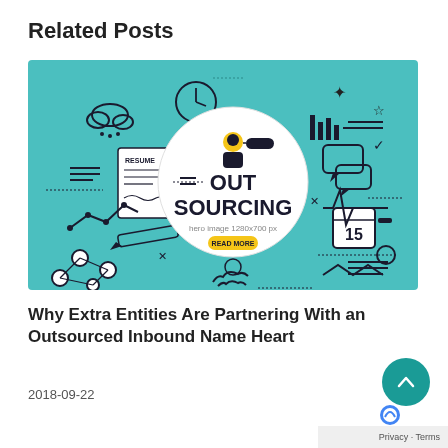Related Posts
[Figure (illustration): Outsourcing concept illustration on teal/cyan background with icons including a clock, cloud, resume document, pencil, network nodes, handshake, calendar showing 15, chat bubbles, star, and a central white circle with bold text 'OUT SOURCING', a person icon, and a yellow button. Text at center reads 'hero image 1280x700 px'.]
Why Extra Entities Are Partnering With an Outsourced Inbound Name Heart
2018-09-22